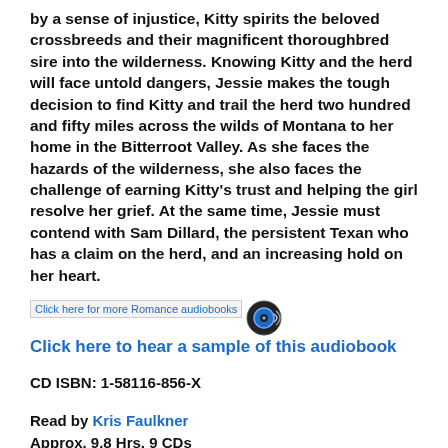by a sense of injustice, Kitty spirits the beloved crossbreeds and their magnificent thoroughbred sire into the wilderness. Knowing Kitty and the herd will face untold dangers, Jessie makes the tough decision to find Kitty and trail the herd two hundred and fifty miles across the wilds of Montana to her home in the Bitterroot Valley. As she faces the hazards of the wilderness, she also faces the challenge of earning Kitty's trust and helping the girl resolve her grief. At the same time, Jessie must contend with Sam Dillard, the persistent Texan who has a claim on the herd, and an increasing hold on her heart.
Click here for more Romance audiobooks  Click here to hear a sample of this audiobook
CD ISBN: 1-58116-856-X
Read by Kris Faulkner
Approx. 9.8 Hrs. 9 CDs
Rated PG
DELIVERANCE VALLEY, by